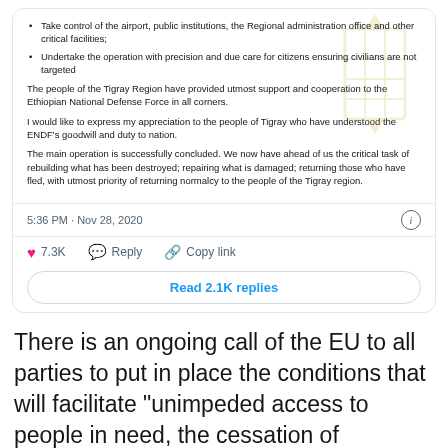Take control of the airport, public institutions, the Regional administration office and other critical facilities;
Undertake the operation with precision and due care for citizens ensuring civilians are not targeted
The people of the Tigray Region have provided utmost support and cooperation to the Ethiopian National Defense Force in all corners.
I would like to express my appreciation to the people of Tigray who have understood the ENDF's goodwill and duty to nation.
The main operation is successfully concluded. We now have ahead of us the critical task of rebuilding what has been destroyed; repairing what is damaged; returning those who have fled, with utmost priority of returning normalcy to the people of the Tigray region.
5:36 PM · Nov 28, 2020
7.3K   Reply   Copy link
Read 2.1K replies
There is an ongoing call of the EU to all parties to put in place the conditions that will facilitate "unimpeded access to people in need, the cessation of hostilities, the non-interference of any external party, and the freedom of the media".